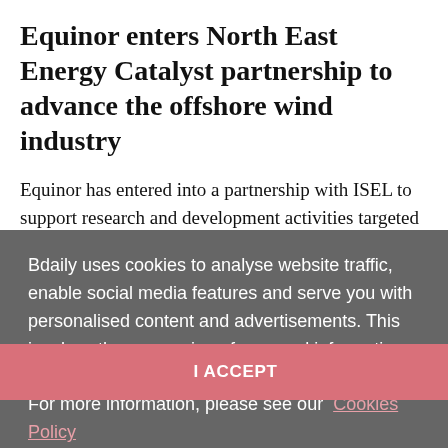Equinor enters North East Energy Catalyst partnership to advance the offshore wind industry
Equinor has entered into a partnership with ISEL to support research and development activities targeted at key industry challenges. ISEL...
Bdaily uses cookies to analyse website traffic, enable social media features and serve you with personalised content and advertisements. This involves the processing of personal information including your IP address and browsing behaviour. For more information, please see our Cookies Policy
I ACCEPT
UK's net zero goals set to create tens of